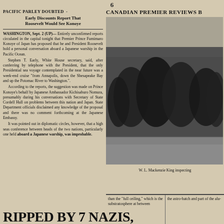6
PACIFIC PARLEY DOUBTED
Early Discounts Report That Roosevelt Would See Konoye
WASHINGTON, Sept. 2 (UP)— Entirely unconfirmed reports circulated in the capital tonight that Premier Prince Fumimaro Konoye of Japan has proposed that he and President Roosevelt hold a personal conversation aboard a Japanese warship in the Pacific Ocean. Stephen T. Early, White House secretary, said, after conferring by telephone with the President, that the only Presidential sea voyage contemplated in the near future was a week-end cruise "from Annapolis, down the Shesapeake Bay and up the Potomac River to Washington.". According to the reports, the suggestion was made on Prince Konoye's behalf by Japanese Ambassador Kichisaburo Nomura, presumably during his conversations with Secretary of State Cordell Hull on problems between this nation and Japan. State Department officials disclaimed any knowledge of the proposal and there was no comment forthcoming at the Japanese Embassy. It was pointed out in diplomatic circles, however, that a high seas conference between heads of the two nations, particularly one held aboard a Japanese warship, was improbable.
CANADIAN PREMIER REVIEWS B
[Figure (photo): Black and white photograph of W. L. Mackenzie King inspecting troops or a military gathering, showing figures in dark uniforms/coats from behind.]
W. L. Mackenzie King inspecting
RIPPED BY 7 NAZIS,
than the "full ceiling," which is the substratosphere at between
the astro-hatch and part of the alu-